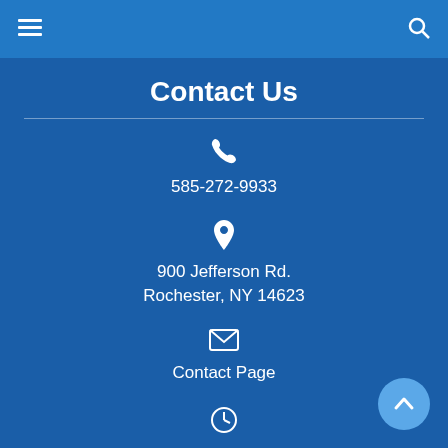Navigation bar with menu and search icons
Contact Us
585-272-9933
900 Jefferson Rd.
Rochester, NY 14623
Contact Page
Mon-Fri: 9:00am-6:00pm
Saturday: 9:00am-4:00pm